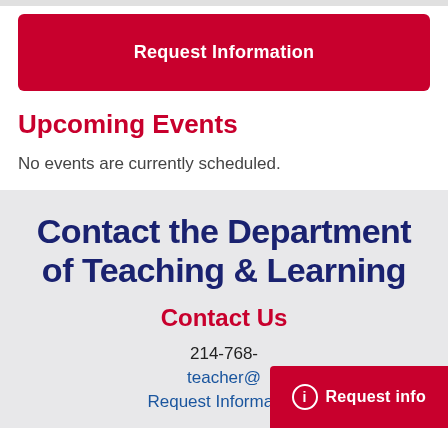Request Information
Upcoming Events
No events are currently scheduled.
Contact the Department of Teaching & Learning
Contact Us
214-768-
teacher@
Request Information
Request info